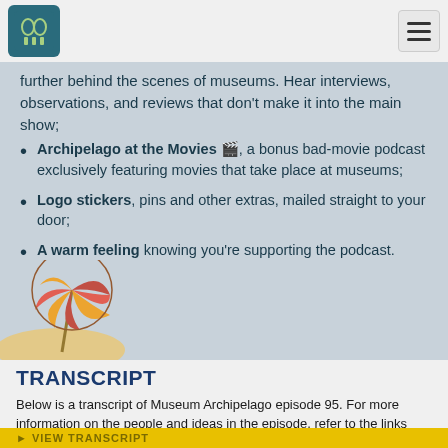Museum Archipelago [logo] [hamburger menu]
further behind the scenes of museums. Hear interviews, observations, and reviews that don’t make it into the main show;
Archipelago at the Movies 🎬, a bonus bad-movie podcast exclusively featuring movies that take place at museums;
Logo stickers, pins and other extras, mailed straight to your door;
A warm feeling knowing you’re supporting the podcast.
TRANSCRIPT
Below is a transcript of Museum Archipelago episode 95. For more information on the people and ideas in the episode, refer to the links above.
► VIEW TRANSCRIPT